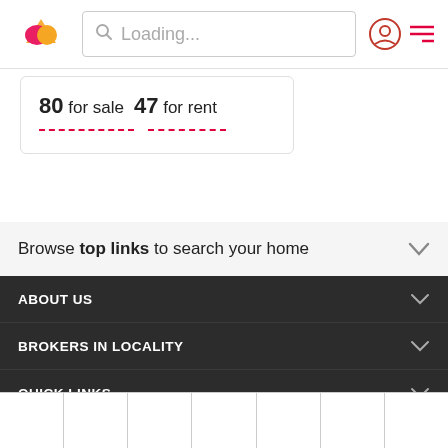Loading...
80 for sale  47 for rent
Browse top links to search your home
ABOUT US
BROKERS IN LOCALITY
QUICK LINKS
NETWORK SITES
Housing.com | Indianrealestateforum.com | Proptiger.com | Realestate.com.au | Mansionglobal.com |